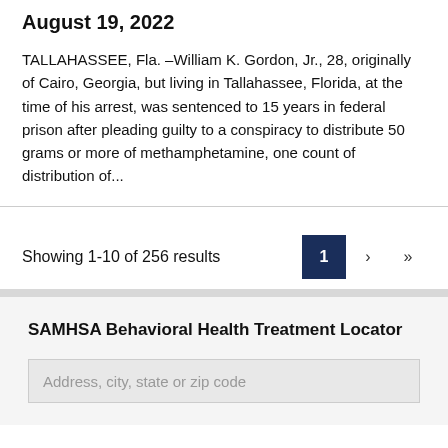August 19, 2022
TALLAHASSEE, Fla. – William K. Gordon, Jr., 28, originally of Cairo, Georgia, but living in Tallahassee, Florida, at the time of his arrest, was sentenced to 15 years in federal prison after pleading guilty to a conspiracy to distribute 50 grams or more of methamphetamine, one count of distribution of...
Showing 1-10 of 256 results
SAMHSA Behavioral Health Treatment Locator
Address, city, state or zip code